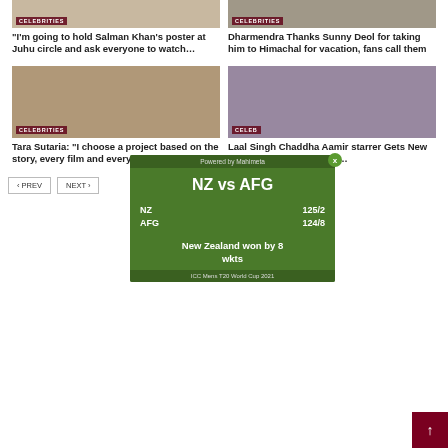[Figure (photo): Celebrity photo top left with CELEBRITIES badge]
[Figure (photo): Celebrity photo top right with CELEBRITIES badge]
“I’m going to hold Salman Khan’s poster at Juhu circle and ask everyone to watch…
Dharmendra Thanks Sunny Deol for taking him to Himachal for vacation, fans call them
[Figure (photo): Tara Sutaria photo with CELEBRITIES badge]
[Figure (photo): Laal Singh Chaddha / Aamir starrer photo with CELEEB badge]
[Figure (infographic): NZ vs AFG cricket score widget. NZ 125/2, AFG 124/8. New Zealand won by 8 wkts. ICC Mens T20 World Cup 2021. Powered by Mahimeta.]
Tara Sutaria: “I choose a project based on the story, every film and every role…
Laal Singh Chaddha Aamir starrer Gets New Release Date; pushed to…
< PREV
NEXT >